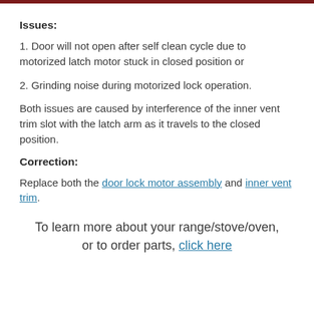Issues:
1. Door will not open after self clean cycle due to motorized latch motor stuck in closed position or
2. Grinding noise during motorized lock operation.
Both issues are caused by interference of the inner vent trim slot with the latch arm as it travels to the closed position.
Correction:
Replace both the door lock motor assembly and inner vent trim.
To learn more about your range/stove/oven, or to order parts, click here